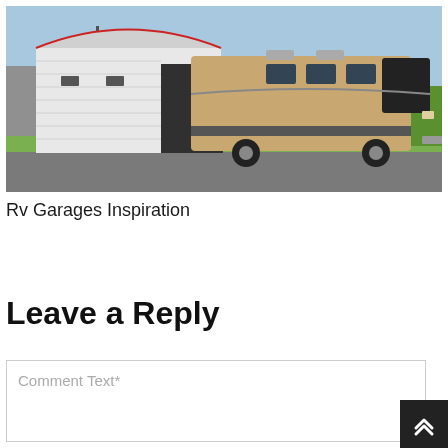[Figure (photo): A large white metal RV garage/carport building with a curved roof and red trim. A large tan/beige motorhome RV is partially backing into or exiting the garage. Background shows green grass, trees, blue sky, and a gray building.]
Rv Garages Inspiration
Leave a Reply
Comment Text*